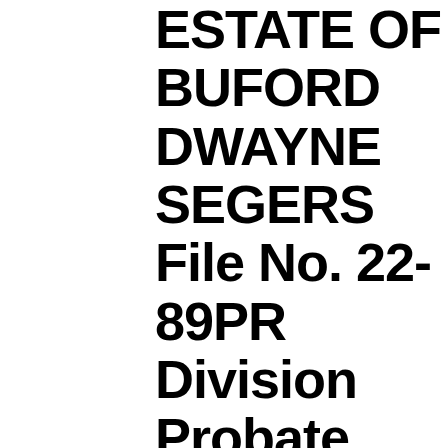ESTATE OF BUFORD DWAYNE SEGERS File No. 22-89PR Division Probate Deceased. NOTICE TO CREDITORS The